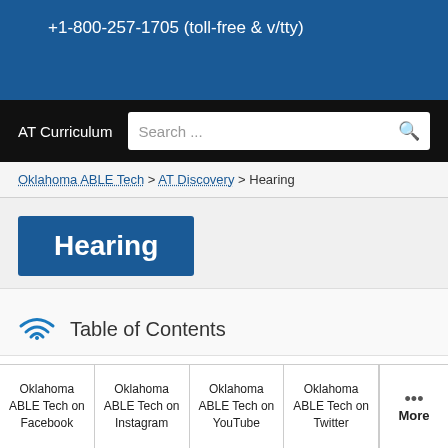+1-800-257-1705 (toll-free & v/tty)
AT Curriculum
Search ...
Oklahoma ABLE Tech > AT Discovery > Hearing
Hearing
Table of Contents
Oklahoma ABLE Tech on Facebook | Oklahoma ABLE Tech on Instagram | Oklahoma ABLE Tech on YouTube | Oklahoma ABLE Tech on Twitter | More